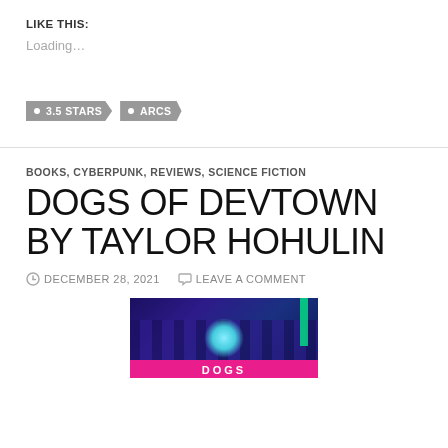LIKE THIS:
Loading...
3.5 STARS
ARCS
BOOKS, CYBERPUNK, REVIEWS, SCIENCE FICTION
DOGS OF DEVTOWN BY TAYLOR HOHULIN
DECEMBER 28, 2021   LEAVE A COMMENT
[Figure (photo): Book cover for Dogs of Devtown by Taylor Hohulin — cyberpunk themed cover with dark blue cityscape, glowing teal orb, magenta/pink strip at the bottom, neon green vertical bar on the right, and bold pink lettering at the bottom.]